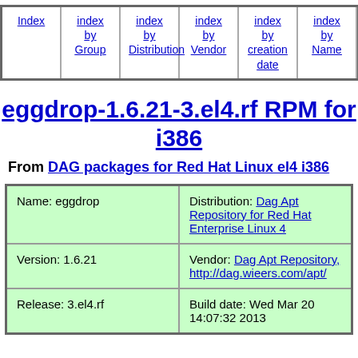Index | index by Group | index by Distribution | index by Vendor | index by creation date | index by Name | Mirrors
eggdrop-1.6.21-3.el4.rf RPM for i386
From DAG packages for Red Hat Linux el4 i386
| Name: eggdrop | Distribution: Dag Apt Repository for Red Hat Enterprise Linux 4 |
| Version: 1.6.21 | Vendor: Dag Apt Repository, http://dag.wieers.com/apt/ |
| Release: 3.el4.rf | Build date: Wed Mar 20 14:07:32 2013 |